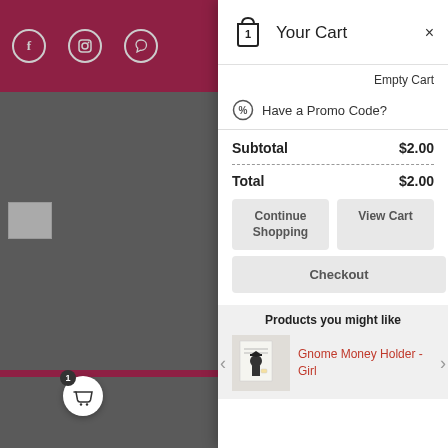[Figure (screenshot): Background website screenshot showing social media icons on dark red header, partial logo image, and dark overlay]
Your Cart
Empty Cart
Have a Promo Code?
| Subtotal | $2.00 |
| Total | $2.00 |
Continue Shopping
View Cart
Checkout
Products you might like
Gnome Money Holder - Girl